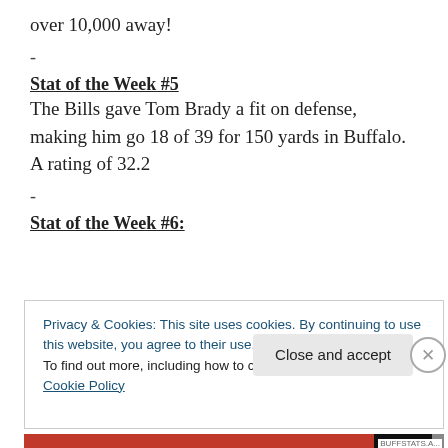over 10,000 away!
-
Stat of the Week #5
The Bills gave Tom Brady a fit on defense, making him go 18 of 39 for 150 yards in Buffalo. A rating of 32.2
-
Stat of the Week #6:
Privacy & Cookies: This site uses cookies. By continuing to use this website, you agree to their use.
To find out more, including how to control cookies, see here: Cookie Policy